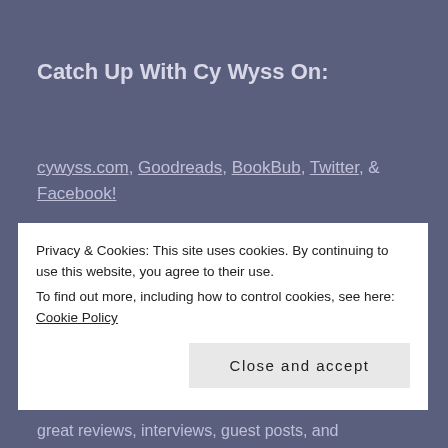Catch Up With Cy Wyss On:
cywyss.com, Goodreads, BookBub, Twitter, & Facebook!
Privacy & Cookies: This site uses cookies. By continuing to use this website, you agree to their use.
To find out more, including how to control cookies, see here: Cookie Policy
[Close and accept]
great reviews, interviews, guest posts, and